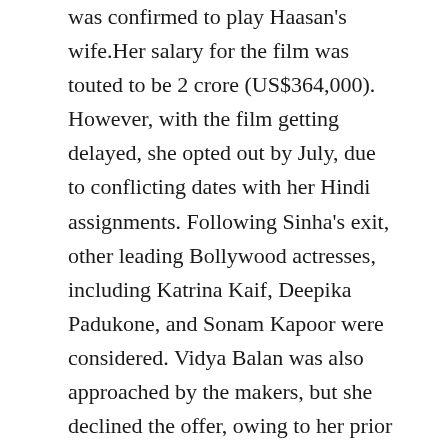was confirmed to play Haasan's wife.Her salary for the film was touted to be 2 crore (US$364,000). However, with the film getting delayed, she opted out by July, due to conflicting dates with her Hindi assignments. Following Sinha's exit, other leading Bollywood actresses, including Katrina Kaif, Deepika Padukone, and Sonam Kapoor were considered. Vidya Balan was also approached by the makers, but she declined the offer, owing to her prior commitments. By mid-August, Sameera Reddy was reported to have been roped in for the role, while sources stated that Anushka Shetty was finalised soon after. In early November 2011, New York based model-actress Pooja Kumar was signed in for a role after she had been recommended to Kamal Haasan by his partner, Gouthami.The initial audition for Pooja Kumar was held over Skype, with Haasan noting that